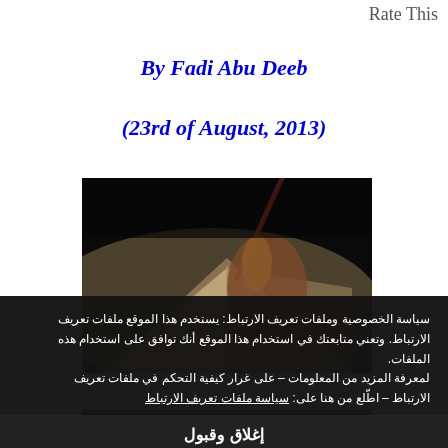Rate This
By Fadi Abu Deeb
(23rd of August, 2013)
[Figure (photo): Close-up photo of a person's hand holding a pencil over an open book, dark background with warm light on the pages]
سياسة الخصوصية وملفات تعريف الارتباط: يستخدم هذا الموقع ملفات تعريف الارتباط. وتعني متابعتك في استخدام هذا الموقع أنك توافق على استخدام هذه الملفات. لمعرفة المزيد من المعلومات – على غرار كيفية التحكم في ملفات تعريف الارتباط – اطّلع من هنا على: سياسة ملفات تعريف الارتباط
إغلاق وقبول